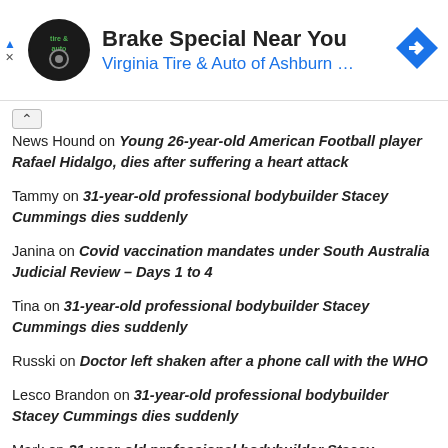[Figure (logo): Advertisement banner for Virginia Tire & Auto of Ashburn with logo, headline 'Brake Special Near You', and navigation arrow icon]
News Hound on Young 26-year-old American Football player Rafael Hidalgo, dies after suffering a heart attack
Tammy on 31-year-old professional bodybuilder Stacey Cummings dies suddenly
Janina on Covid vaccination mandates under South Australia Judicial Review – Days 1 to 4
Tina on 31-year-old professional bodybuilder Stacey Cummings dies suddenly
Russki on Doctor left shaken after a phone call with the WHO
Lesco Brandon on 31-year-old professional bodybuilder Stacey Cummings dies suddenly
Mark on 31-year-old professional bodybuilder Stacey Cummings